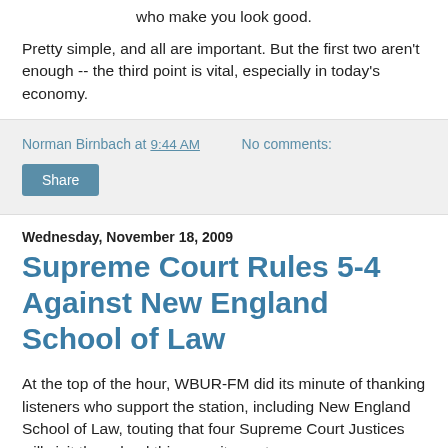who make you look good.
Pretty simple, and all are important. But the first two aren't enough -- the third point is vital, especially in today's economy.
Norman Birnbach at 9:44 AM   No comments:
Share
Wednesday, November 18, 2009
Supreme Court Rules 5-4 Against New England School of Law
At the top of the hour, WBUR-FM did its minute of thanking listeners who support the station, including New England School of Law, touting that four Supreme Court Justices will visit the school this year, its centenary.
That's nice, I guess. But a more provocative way to get mileage from that could have been to say: "Supreme Court...